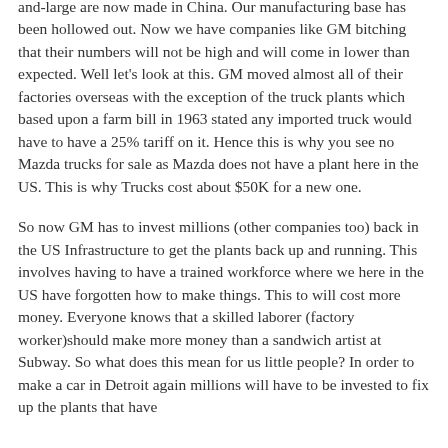and-large are now made in China. Our manufacturing base has been hollowed out. Now we have companies like GM bitching that their numbers will not be high and will come in lower than expected. Well let's look at this. GM moved almost all of their factories overseas with the exception of the truck plants which based upon a farm bill in 1963 stated any imported truck would have to have a 25% tariff on it. Hence this is why you see no Mazda trucks for sale as Mazda does not have a plant here in the US. This is why Trucks cost about $50K for a new one.
So now GM has to invest millions (other companies too) back in the US Infrastructure to get the plants back up and running. This involves having to have a trained workforce where we here in the US have forgotten how to make things. This to will cost more money. Everyone knows that a skilled laborer (factory worker)should make more money than a sandwich artist at Subway. So what does this mean for us little people? In order to make a car in Detroit again millions will have to be invested to fix up the plants that have